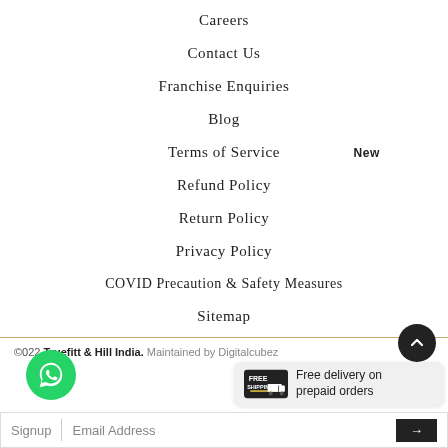Careers
Contact Us
Franchise Enquiries
Blog
Terms of Service
Refund Policy
Return Policy
Privacy Policy
COVID Precaution & Safety Measures
Sitemap
2022 Truefitt & Hill India. Maintained by Digitalcubez
Free delivery on prepaid orders